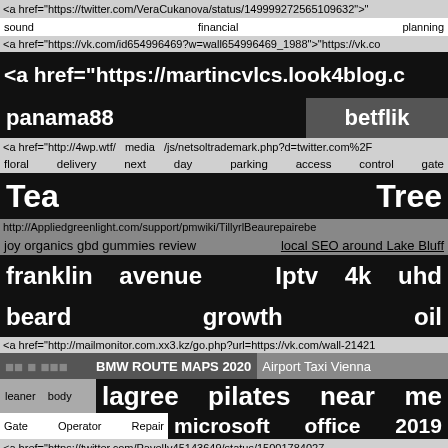<a href="https://twitter.com/VeraCukanova/status/149999272565109632">"
sound financial planning
<a href="https://vk.com/id654996469?w=wall654996469_1988">"https://vk.co
<a href="https://martincvlcs.look4blog.c
panama88
betflik
<a href="http://4wp.wtf/ media /js/netsoltrademark.php?d=twitter.com%2F
floral delivery next day
parking access control gate
Tea
Tree
http://Appliedgreenlight.com/support/pmwiki/TillyrlBeaurepairebe
joy organics gbd gummies review
local SEO around Lake Bluff
franklin avenue
Iptv 4k uhd
beard growth oil
<a href="http://mailmonitor.com.xx3.kz/go.php?url=https://vk.com/wall-21421
□□ □ □□□
BMW ROUTE MAPS 2020
Airport Taxi Vienna
leaner body
lagree pilates near me
Gate Operator Repair
microsoft office 2019
<a href="https://twitter.com/PavelIv45143649/status/15001784027
funeral flowers delivery
push cartridge
asic miner
blocked drains gillingham
KS Pod
Puerto Rico Solar
chinese language tuition centre
sushi karlsruhe
□□□□□
pharmaceutical suppliers